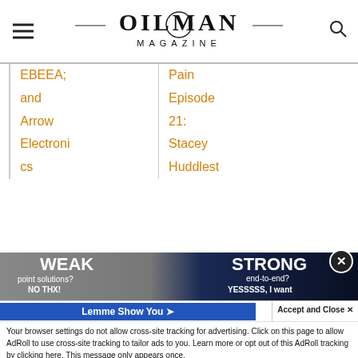OILMAN MAGAZINE
| EBEEA; | Pain |
| and | Episode |
| Arrow | 21: |
| Electroni | Stacey |
| cs | Huddlest |
[Figure (photo): Advertisement image showing a split image of a white animal on the left and a blue-toned wolf on the right. Left side text: WEAK point solutions? NO THX! Right side text: STRONG end-to-end? YESSSSS, I want. PakEnergy logo at bottom right.]
Lemme Show You
Accept and Close ×
Your browser settings do not allow cross-site tracking for advertising. Click on this page to allow AdRoll to use cross-site tracking to tailor ads to you. Learn more or opt out of this AdRoll tracking by clicking here. This message only appears once.